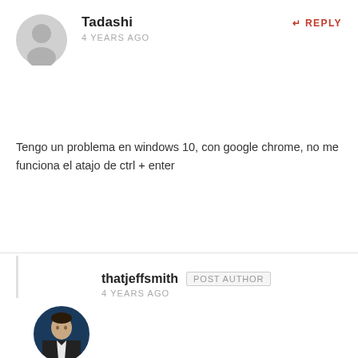Tadashi
4 YEARS AGO
[Figure (illustration): Generic gray user avatar placeholder circle with person silhouette]
REPLY
Tengo un problema en windows 10, con google chrome, no me funciona el atajo de ctrl + enter
thatjeffsmith
POST AUTHOR
4 YEARS AGO
[Figure (photo): Circular profile photo of a man in a dark jacket standing in front of a blue background]